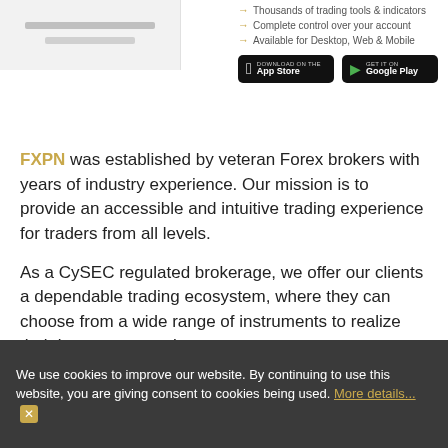[Figure (screenshot): Top portion showing app store download buttons and bullet points: Thousands of trading tools & indicators, Complete control over your account, Available for Desktop, Web & Mobile]
FXPN was established by veteran Forex brokers with years of industry experience. Our mission is to provide an accessible and intuitive trading experience for traders from all levels.
As a CySEC regulated brokerage, we offer our clients a dependable trading ecosystem, where they can choose from a wide range of instruments to realize their investment goals.
With our selection of desktop, web, and mobile trading platforms, we always strive to stay at the front line of trading technology, with regular software updates and technical support.
And finally, start trading with FXPN and become part of our free environment where you can get live human support anytime from traders who understand you.
We use cookies to improve our website. By continuing to use this website, you are giving consent to cookies being used. More details... ✕